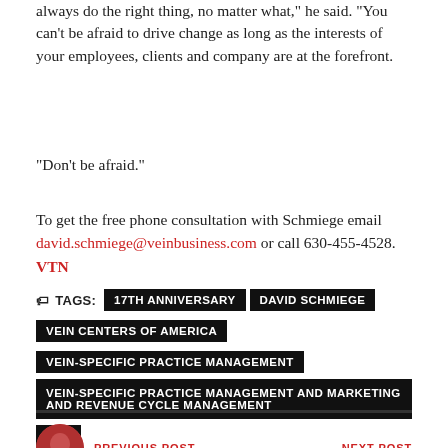always do the right thing, no matter what," he said. "You can't be afraid to drive change as long as the interests of your employees, clients and company are at the forefront.
“Don’t be afraid.”
To get the free phone consultation with Schmiege email david.schmiege@veinbusiness.com or call 630-455-4528. VTN
TAGS: 17TH ANNIVERSARY  DAVID SCHMIEGE  VEIN CENTERS OF AMERICA  VEIN-SPECIFIC PRACTICE MANAGEMENT  VEIN-SPECIFIC PRACTICE MANAGEMENT AND MARKETING AND REVENUE CYCLE MANAGEMENT  VSA
PREVIOUS POST  NEXT POST